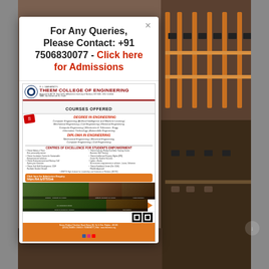[Figure (photo): Background photo of a computer lab with orange/brown wooden computer workstations, monitors, and office chairs]
For Any Queries, Please Contact: +91 7506830077 - Click here for Admissions
[Figure (infographic): Theem College of Engineering advertisement showing courses offered including Degree in Engineering (Computer Engineering, AI and Machine Learning, Mechanical Engineering, Civil Engineering, Electrical Engineering, Computer Engineering, Electronics & Telecomm. Engg., Information Technology, Automobile Engineering) and Diploma in Engineering (Mechanical Engineering, Electrical Engineering, Computer Engineering, Civil Engineering), Centres of Excellence for Students Empowerment, admission link https://bit.ly/37531ak, campus photos, and contact information]